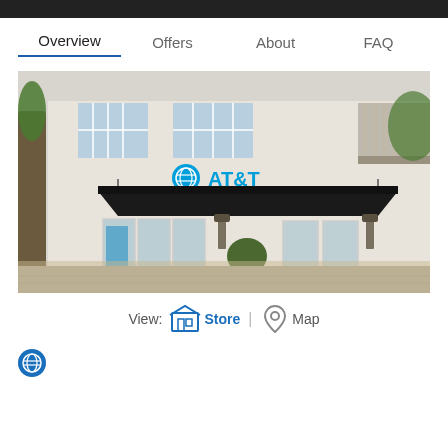Overview | Offers | About | FAQ
[Figure (photo): AT&T retail store exterior with black awning, glass doors, palm trees, and white building facade. AT&T logo and signage visible above the entrance.]
View: Store | Map